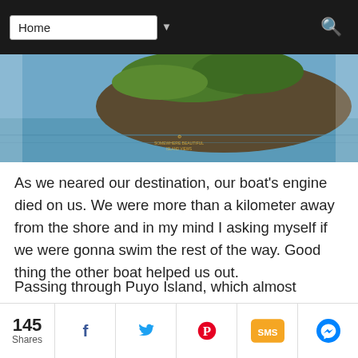Home [navigation dropdown]
[Figure (photo): A rocky island with green vegetation on top, surrounded by blue ocean water. A small watermark is visible at the bottom center of the image.]
As we neared our destination, our boat's engine died on us. We were more than a kilometer away from the shore and in my mind I asking myself if we were gonna swim the rest of the way. Good thing the other boat helped us out.
Passing through Puyo Island, which almost transported us to Ireland, we eventually arrived at white shore of Tabonan Beach in Barangay Yabawon.
145 Shares | Facebook | Twitter | Pinterest | SMS | Messenger